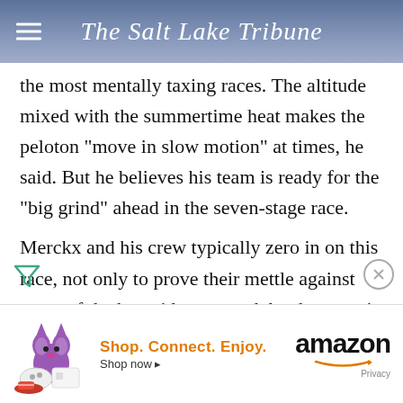The Salt Lake Tribune
the most mentally taxing races. The altitude mixed with the summertime heat makes the peloton "move in slow motion" at times, he said. But he believes his team is ready for the "big grind" ahead in the seven-stage race.
Merckx and his crew typically zero in on this race, not only to prove their mettle against some of the best riders around, but because it signals the beginning of the end of another racing season for
[Figure (infographic): Amazon advertisement banner: Shop. Connect. Enjoy. Shop now arrow. Amazon logo with smile. Privacy text.]